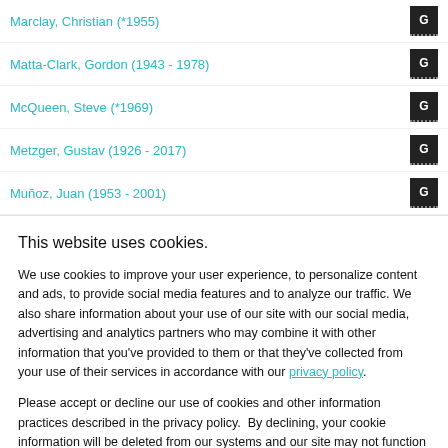Marclay, Christian (*1955)
Matta-Clark, Gordon (1943 - 1978)
McQueen, Steve (*1969)
Metzger, Gustav (1926 - 2017)
Muñoz, Juan (1953 - 2001)
This website uses cookies.
We use cookies to improve your user experience, to personalize content and ads, to provide social media features and to analyze our traffic. We also share information about your use of our site with our social media, advertising and analytics partners who may combine it with other information that you've provided to them or that they've collected from your use of their services in accordance with our privacy policy.
Please accept or decline our use of cookies and other information practices described in the privacy policy.  By declining, your cookie information will be deleted from our systems and our site may not function as intended.